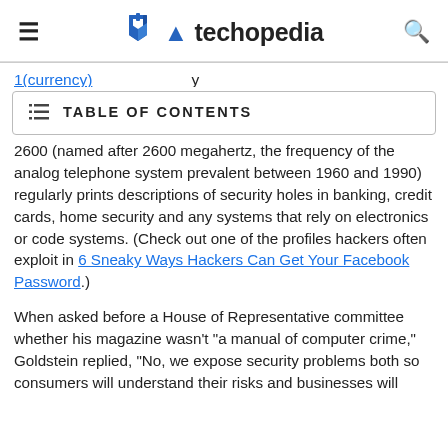≡   techopedia   🔍
2600 (named after 2600 megahertz, the frequency of the analog telephone system prevalent between 1960 and 1990) regularly prints descriptions of security holes in banking, credit cards, home security and any systems that rely on electronics or code systems. (Check out one of the profiles hackers often exploit in 6 Sneaky Ways Hackers Can Get Your Facebook Password.)
TABLE OF CONTENTS
When asked before a House of Representative committee whether his magazine wasn't "a manual of computer crime," Goldstein replied, "No, we expose security problems both so consumers will understand their risks and businesses will